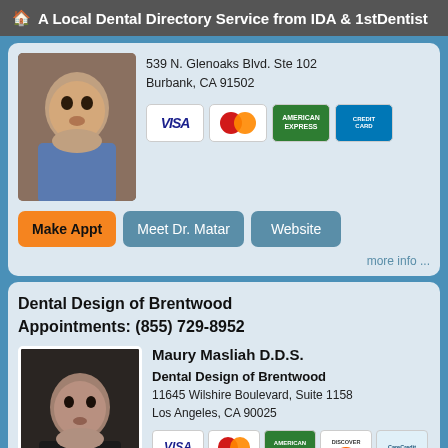A Local Dental Directory Service from IDA & 1stDentist
539 N. Glenoaks Blvd. Ste 102
Burbank, CA 91502
[Figure (other): Payment card logos: Visa, MasterCard, American Express, Discover/blue card]
[Figure (photo): Photo of Dr. Matar]
Make Appt  Meet Dr. Matar  Website
more info ...
Dental Design of Brentwood
Appointments: (855) 729-8952
[Figure (photo): Photo of Maury Masliah D.D.S.]
Maury Masliah D.D.S.
Dental Design of Brentwood
11645 Wilshire Boulevard, Suite 1158
Los Angeles, CA 90025
[Figure (other): Payment card logos: Visa, MasterCard, American Express, Discover, CareCredit]